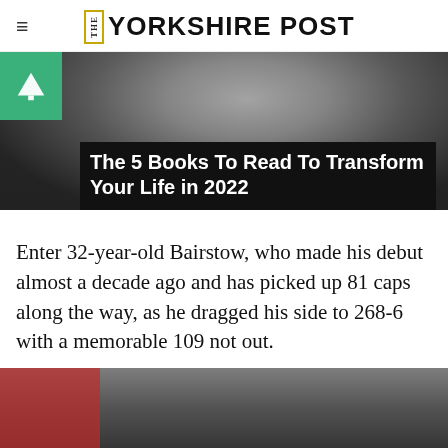THE YORKSHIRE POST
[Figure (photo): Close-up black and white photo of a bearded man's face, with media player controls overlay and progress bar. An advertisement badge (green triangle/arrow icon) is in the top-left corner. Overlay title reads: The 5 Books To Read To Transform Your Life in 2022]
Enter 32-year-old Bairstow, who made his debut almost a decade ago and has picked up 81 caps along the way, as he dragged his side to 268-6 with a memorable 109 not out.
[Figure (photo): Partial photo at bottom of page showing a cricket player (Bairstow) in action, with a red banner partially visible at the lower left.]